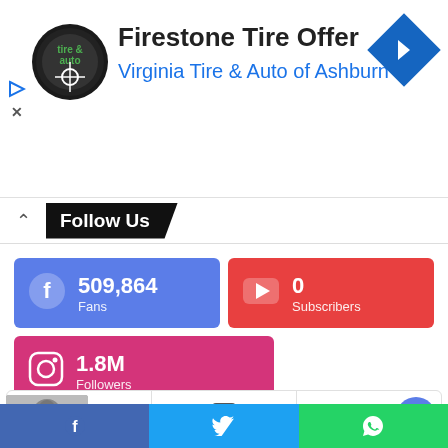[Figure (screenshot): Advertisement banner for Firestone Tire Offer by Virginia Tire & Auto of Ashburn with logo and navigation icon]
Firestone Tire Offer
Virginia Tire & Auto of Ashburn ...
Follow Us
[Figure (infographic): Social media follower counts: Facebook 509,864 Fans (blue), YouTube 0 Subscribers (red), Instagram 1.8M Followers (pink)]
[Figure (infographic): Icon row with eye icon, document icon, comment icon]
Trisha Kar Madhu
August 17, 2021
Facebook | Twitter | WhatsApp share bar